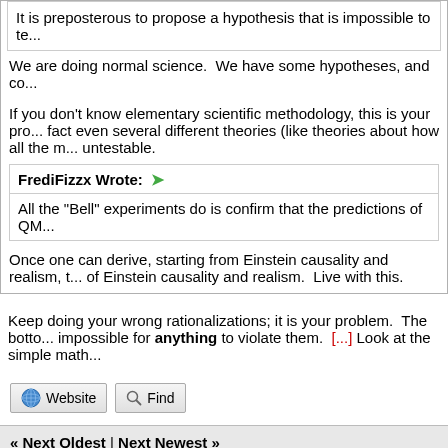It is preposterous to propose a hypothesis that is impossible to te...
We are doing normal science.  We have some hypotheses, and co...
If you don't know elementary scientific methodology, this is your pro... fact even several different theories (like theories about how all the m... untestable.
FrediFizzx Wrote: All the "Bell" experiments do is confirm that the predictions of QM...
Once one can derive, starting from Einstein causality and realism, t... of Einstein causality and realism.  Live with this.
Keep doing your wrong rationalizations; it is your problem.  The botto... impossible for anything to violate them.  [...] Look at the simple math...
« Next Oldest | Next Newest »